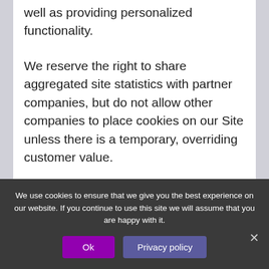well as providing personalized functionality.
We reserve the right to share aggregated site statistics with partner companies, but do not allow other companies to place cookies on our Site unless there is a temporary, overriding customer value.
You have the ability to accept or
We use cookies to ensure that we give you the best experience on our website. If you continue to use this site we will assume that you are happy with it.